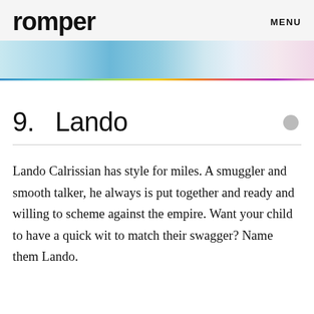romper  MENU
9.  Lando
Lando Calrissian has style for miles. A smuggler and smooth talker, he always is put together and ready and willing to scheme against the empire. Want your child to have a quick wit to match their swagger? Name them Lando.